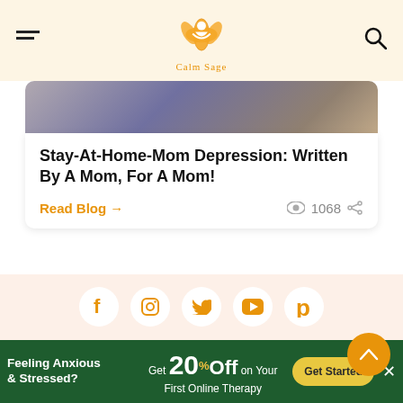Calm Sage logo header with navigation menu and search icons
[Figure (photo): Partial image of a person at top of article card]
Stay-At-Home-Mom Depression: Written By A Mom, For A Mom!
Read Blog → 1068
[Figure (infographic): Social media icons: Facebook, Instagram, Twitter, YouTube, Pinterest on peach background]
Copyright © 2022 calmsage.com All rights reserved.
As BetterHelp Affiliate, We may receive...
Feeling Anxious & Stressed? Get 20% Off on Your First Online Therapy  Get Started